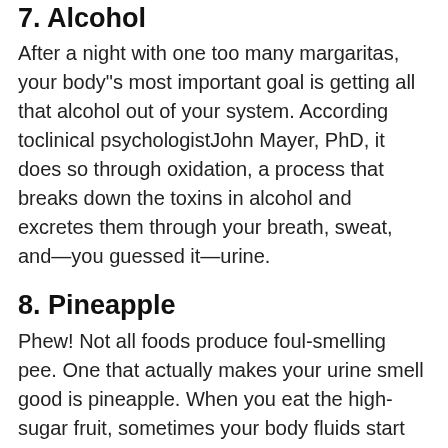7. Alcohol
After a night with one too many margaritas, your body"s most important goal is getting all that alcohol out of your system. According toclinical psychologistJohn Mayer, PhD, it does so through oxidation, a process that breaks down the toxins in alcohol and excretes them through your breath, sweat, and—you guessed it—urine.
8. Pineapple
Phew! Not all foods produce foul-smelling pee. One that actually makes your urine smell good is pineapple. When you eat the high-sugar fruit, sometimes your body fluids start smelling sweet, too.
Other reasons besides food that your pee is smelly
According to urologist Michael Ingber, MD, there are